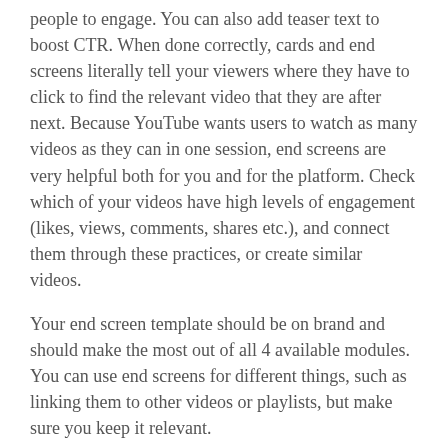people to engage. You can also add teaser text to boost CTR. When done correctly, cards and end screens literally tell your viewers where they have to click to find the relevant video that they are after next. Because YouTube wants users to watch as many videos as they can in one session, end screens are very helpful both for you and for the platform. Check which of your videos have high levels of engagement (likes, views, comments, shares etc.), and connect them through these practices, or create similar videos.
Your end screen template should be on brand and should make the most out of all 4 available modules. You can use end screens for different things, such as linking them to other videos or playlists, but make sure you keep it relevant.